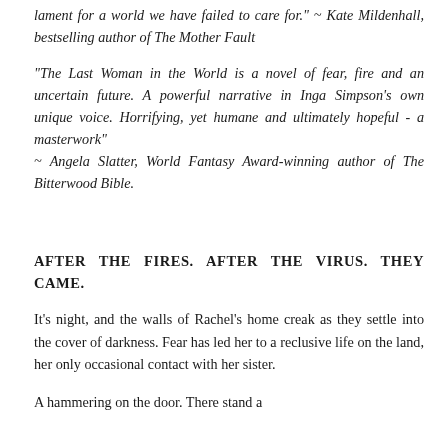lament for a world we have failed to care for." ~ Kate Mildenhall, bestselling author of The Mother Fault
"The Last Woman in the World is a novel of fear, fire and an uncertain future. A powerful narrative in Inga Simpson's own unique voice. Horrifying, yet humane and ultimately hopeful - a masterwork" ~ Angela Slatter, World Fantasy Award-winning author of The Bitterwood Bible.
AFTER THE FIRES. AFTER THE VIRUS. THEY CAME.
It's night, and the walls of Rachel's home creak as they settle into the cover of darkness. Fear has led her to a reclusive life on the land, her only occasional contact with her sister.
A hammering on the door. There stand a